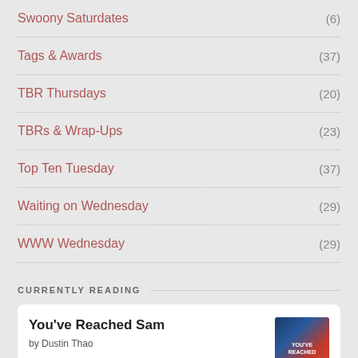Swoony Saturdates (6)
Tags & Awards (37)
TBR Thursdays (20)
TBRs & Wrap-Ups (23)
Top Ten Tuesday (37)
Waiting on Wednesday (29)
WWW Wednesday (29)
CURRENTLY READING
You've Reached Sam by Dustin Thao